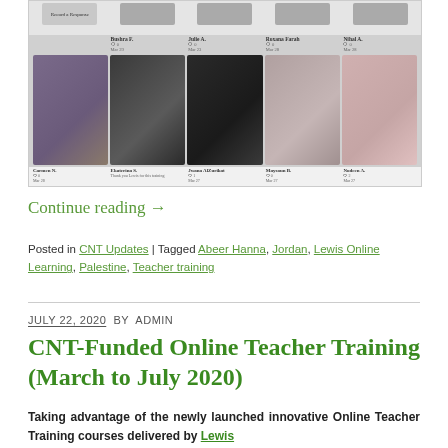[Figure (screenshot): Screenshot of an online learning platform showing video response thumbnails of multiple participants. Top row includes: Record a Response button, Bushra F. (Mar 29), Julie A. (Mar 23), Roxana Farah (Mar 28), Nihal A. (Mar 28). Bottom row photo thumbnails of: Carmen N. (Mar 28), Ekaterina S., Jwana AlZurikat (Mar 27), Maysoun B. (Mar 27), Nodeen A. (Mar 27).]
Continue reading →
Posted in CNT Updates | Tagged Abeer Hanna, Jordan, Lewis Online Learning, Palestine, Teacher training
JULY 22, 2020 BY ADMIN
CNT-Funded Online Teacher Training (March to July 2020)
Taking advantage of the newly launched innovative Online Teacher Training courses delivered by Lewis